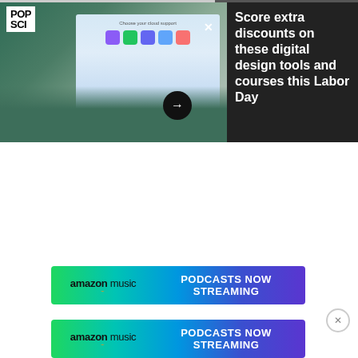[Figure (screenshot): Screenshot of a PopSci article page showing a person typing on a laptop with a design tool interface visible on the screen. Dark panel on right reads 'Score extra discounts on these digital design tools and courses this Labor Day' with an arrow button.]
Score extra discounts on these digital design tools and courses this Labor Day
[Figure (screenshot): Amazon Music advertisement banner reading 'PODCASTS NOW STREAMING']
[Figure (screenshot): Amazon Music advertisement banner (second instance) reading 'PODCASTS NOW STREAMING']